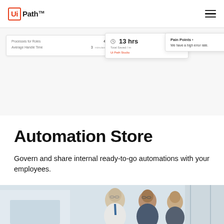[Figure (logo): UiPath logo with orange border box containing 'Ui' and 'Path' text with TM superscript]
[Figure (screenshot): UI dashboard screenshots showing '13 hrs Total Saved', rows with 'Processes for Roles' and 'Average Handle Time' data, and a 'Pain Points' card with text 'We have a high error rate.']
Automation Store
Govern and share internal ready-to-go automations with your employees.
[Figure (photo): Bottom photo strip showing business people in a meeting/office setting, partially cropped]